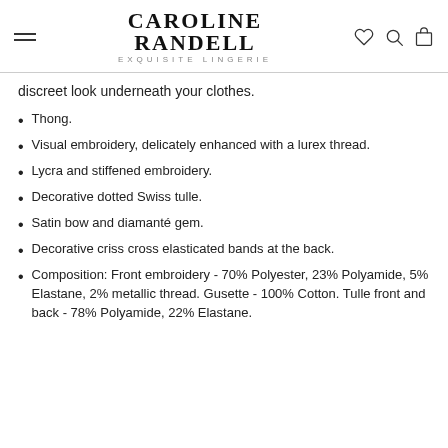CAROLINE RANDELL EXQUISITE LINGERIE
discreet look underneath your clothes.
Thong.
Visual embroidery, delicately enhanced with a lurex thread.
Lycra and stiffened embroidery.
Decorative dotted Swiss tulle.
Satin bow and diamanté gem.
Decorative criss cross elasticated bands at the back.
Composition: Front embroidery - 70% Polyester, 23% Polyamide, 5% Elastane, 2% metallic thread. Gusette - 100% Cotton. Tulle front and back - 78% Polyamide, 22% Elastane.